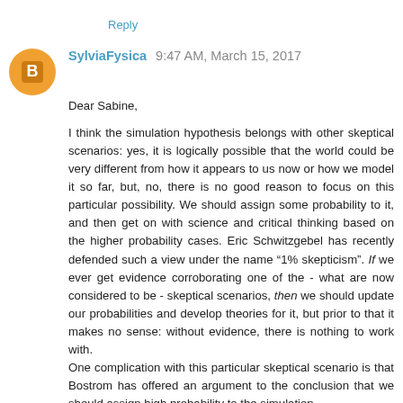Reply
SylviaFysica 9:47 AM, March 15, 2017
Dear Sabine,

I think the simulation hypothesis belongs with other skeptical scenarios: yes, it is logically possible that the world could be very different from how it appears to us now or how we model it so far, but, no, there is no good reason to focus on this particular possibility. We should assign some probability to it, and then get on with science and critical thinking based on the higher probability cases. Eric Schwitzgebel has recently defended such a view under the name "1% skepticism". If we ever get evidence corroborating one of the - what are now considered to be - skeptical scenarios, then we should update our probabilities and develop theories for it, but prior to that it makes no sense: without evidence, there is nothing to work with.
One complication with this particular skeptical scenario is that Bostrom has offered an argument to the conclusion that we should assign high probability to the simulation